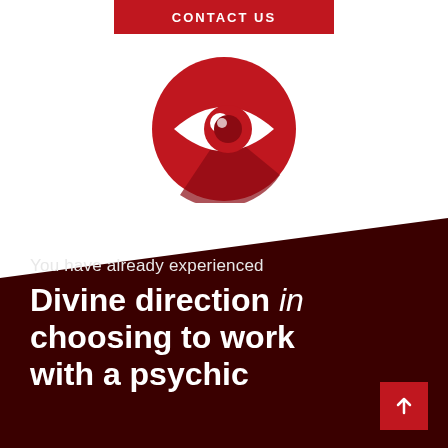CONTACT US
[Figure (illustration): Red circular icon with a white eye symbol in the center, with a shadow/highlight effect on the lower right of the circle]
You have already experienced
Divine direction in choosing to work with a psychic